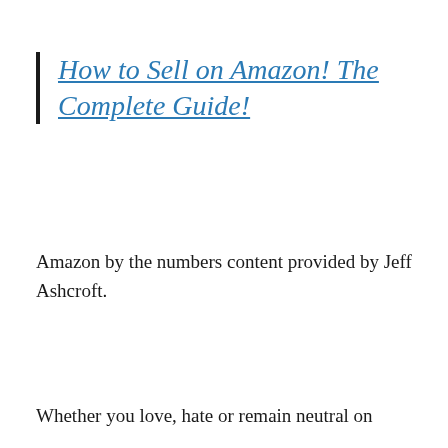How to Sell on Amazon! The Complete Guide!
Amazon by the numbers content provided by Jeff Ashcroft.
Whether you love, hate or remain neutral on